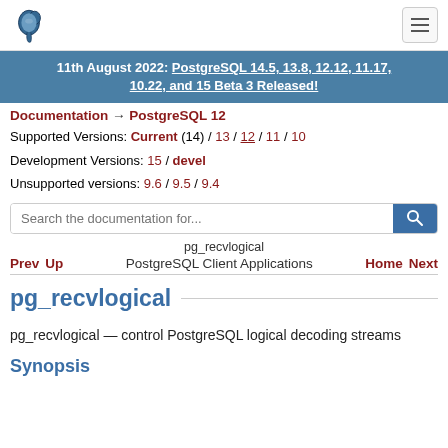PostgreSQL logo and navigation
11th August 2022: PostgreSQL 14.5, 13.8, 12.12, 11.17, 10.22, and 15 Beta 3 Released!
Documentation → PostgreSQL 12
Supported Versions: Current (14) / 13 / 12 / 11 / 10
Development Versions: 15 / devel
Unsupported versions: 9.6 / 9.5 / 9.4
Search the documentation for...
pg_recvlogical  Prev  Up  PostgreSQL Client Applications  Home  Next
pg_recvlogical
pg_recvlogical — control PostgreSQL logical decoding streams
Synopsis